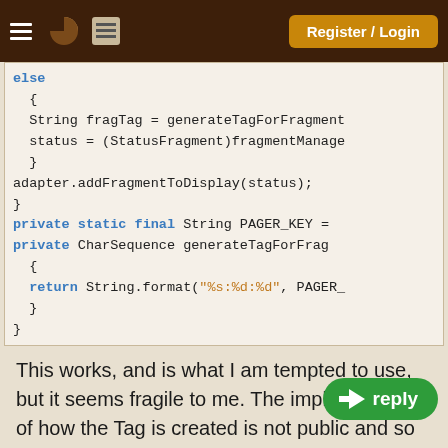Register / Login
else
{
String fragTag = generateTagForFragment
status = (StatusFragment)fragmentManage
}
adapter.addFragmentToDisplay(status);
}
private static final String PAGER_KEY =
private CharSequence generateTagForFrag
{
return String.format("%s:%d:%d", PAGER_
}
}
This works, and is what I am tempted to use, but it seems fragile to me. The implementation of how the Tag is created is not public and so could change.
3. fragmentManager.getFragment(Bundle source, String key). I think I have access to the Fragment bundle, but again, I don't know the key - I would have to figure out how to reproduce it and since it